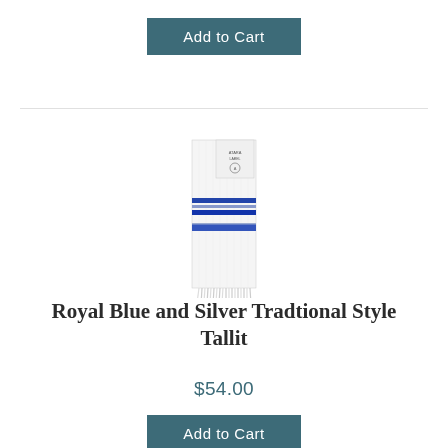Add to Cart
[Figure (photo): A white tallit (Jewish prayer shawl) with royal blue and silver stripes, folded vertically showing fringes at the bottom and a label at the top]
Royal Blue and Silver Tradtional Style Tallit
$54.00
Add to Cart